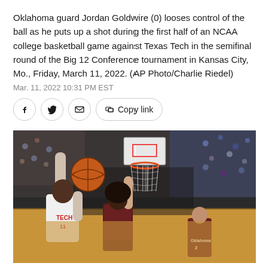Oklahoma guard Jordan Goldwire (0) looses control of the ball as he puts up a shot during the first half of an NCAA college basketball game against Texas Tech in the semifinal round of the Big 12 Conference tournament in Kansas City, Mo., Friday, March 11, 2022. (AP Photo/Charlie Riedel)
Mar. 11, 2022 10:31 PM EST
[Figure (photo): Basketball game action photo: Texas Tech player in white TECH jersey reaching up for the ball under the basket, defended by Oklahoma player, with crowd and basketball hoop visible in background.]